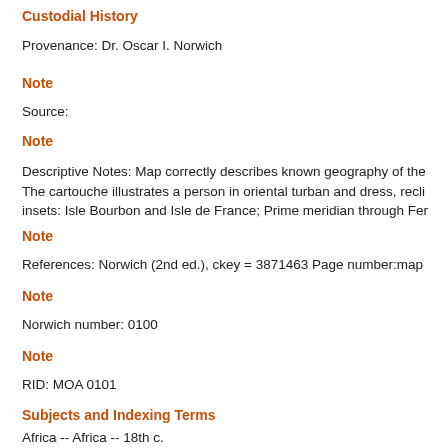Custodial History
Provenance: Dr. Oscar I. Norwich
Note
Source:
Note
Descriptive Notes: Map correctly describes known geography of the The cartouche illustrates a person in oriental turban and dress, recli insets: Isle Bourbon and Isle de France; Prime meridian through Fer
Note
References: Norwich (2nd ed.), ckey = 3871463 Page number:map
Note
Norwich number: 0100
Note
RID: MOA 0101
Subjects and Indexing Terms
Africa -- Africa -- 18th c.
NOR 0102 Africa, agreeable to the most approved maps and cha Conder, Thomas, 1746 or 7-1831 Conder, Thomas, 1746 or 7-183